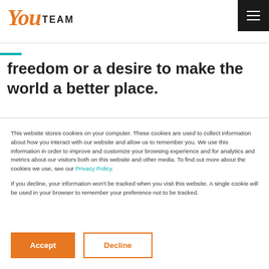You TEAM
freedom or a desire to make the world a better place.
This website stores cookies on your computer. These cookies are used to collect information about how you interact with our website and allow us to remember you. We use this information in order to improve and customize your browsing experience and for analytics and metrics about our visitors both on this website and other media. To find out more about the cookies we use, see our Privacy Policy.

If you decline, your information won't be tracked when you visit this website. A single cookie will be used in your browser to remember your preference not to be tracked.